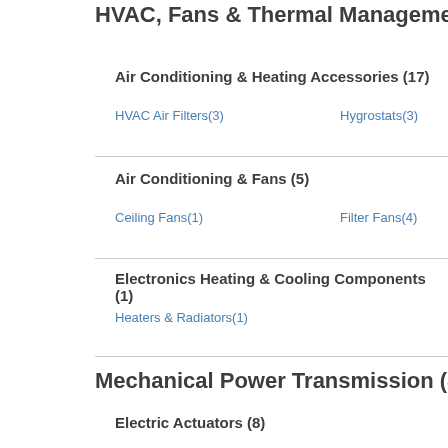HVAC, Fans & Thermal Management
Air Conditioning & Heating Accessories (17)
HVAC Air Filters(3)
Hygrostats(3)
Air Conditioning & Fans (5)
Ceiling Fans(1)
Filter Fans(4)
Electronics Heating & Cooling Components (1)
Heaters & Radiators(1)
Mechanical Power Transmission (8)
Electric Actuators (8)